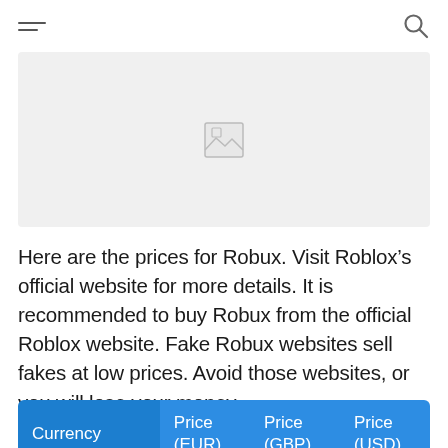[hamburger menu icon] [search icon]
[Figure (photo): Gray placeholder image box with a small image icon in the upper center area]
Here are the prices for Robux. Visit Roblox’s official website for more details. It is recommended to buy Robux from the official Roblox website. Fake Robux websites sell fakes at low prices. Avoid those websites, or you will lose your money.
| Currency | Price (EUR) | Price (GBP) | Price (USD) |
| --- | --- | --- | --- |